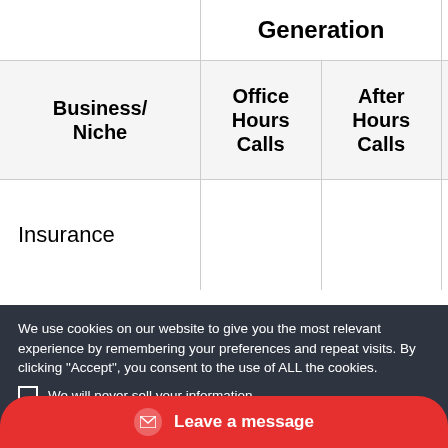| Business/
Niche | Office Hours
Calls | After Hours
Calls | Opportunity Cost
Ca... |
| --- | --- | --- | --- |
| Insurance |  |  | $3,0...
$5,0... |
We use cookies on our website to give you the most relevant experience by remembering your preferences and repeat visits. By clicking "Accept", you consent to the use of ALL the cookies.
We will never sell your information.
Settings
I ACCEPT
Leave a message